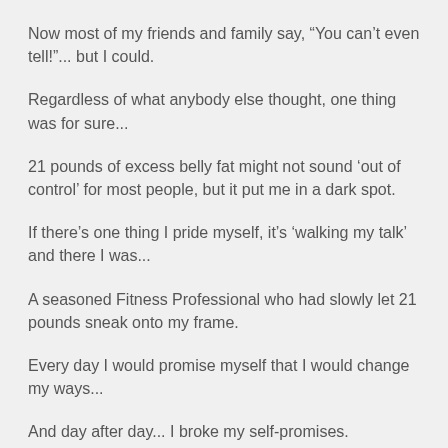Now most of my friends and family say, “You can’t even tell!”... but I could.
Regardless of what anybody else thought, one thing was for sure...
21 pounds of excess belly fat might not sound ‘out of control’ for most people, but it put me in a dark spot.
If there’s one thing I pride myself, it’s ‘walking my talk’ and there I was...
A seasoned Fitness Professional who had slowly let 21 pounds sneak onto my frame.
Every day I would promise myself that I would change my ways...
And day after day... I broke my self-promises.